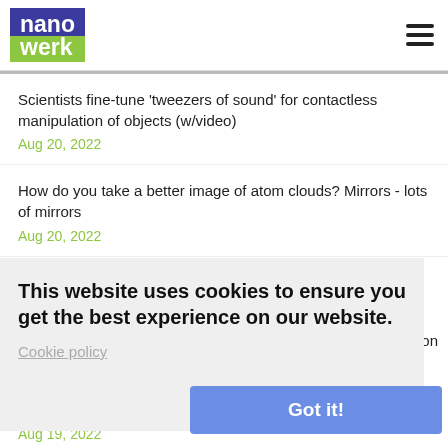[Figure (logo): Nanowerk logo with blue and green background]
Scientists fine-tune 'tweezers of sound' for contactless manipulation of objects (w/video)
Aug 20, 2022
How do you take a better image of atom clouds? Mirrors - lots of mirrors
Aug 20, 2022
Compost to computer: Bio-based materials used to salvage rare [partially visible]
This website uses cookies to ensure you get the best experience on our website.
Cookie policy
Got it!
Aug 19, 2022